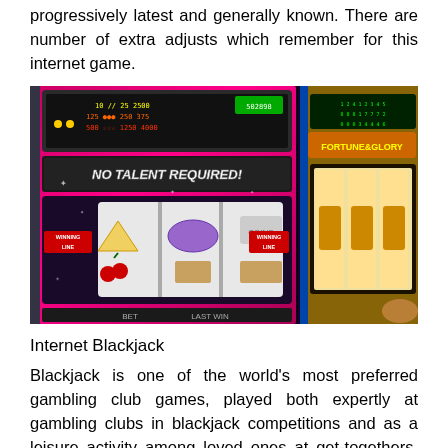progressively latest and generally known. There are number of extra adjusts which remember for this internet game.
[Figure (photo): A slot machine game screenshot showing a pink/red slot machine with 'NO TALENT REQUIRED!' text, three reels with symbols (cheese, oval, other symbols), 'WINNING LINE' markers on left side, 'BET' and 'LAST WIN' at the bottom. On the right side partially visible is another machine labeled 'FORTUNE & GLORY'.]
Internet Blackjack
Blackjack is one of the world's most preferred gambling club games, played both expertly at gambling clubs in blackjack competitions and as a leisure activity among loved ones at get-togethers. The principles of internet club blackjack games are